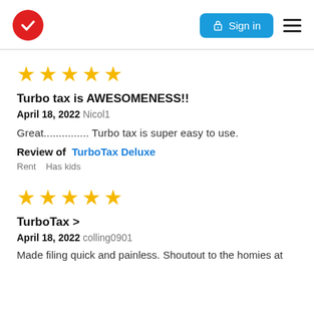TurboTax logo | Sign in | Menu
[Figure (other): Five gold star rating]
Turbo tax is AWESOMENESS!!
April 18, 2022 Nicol1
Great............... Turbo tax is super easy to use.
Review of TurboTax Deluxe
Rent Has kids
[Figure (other): Five gold star rating]
TurboTax >
April 18, 2022 colling0901
Made filing quick and painless. Shoutout to the homies at